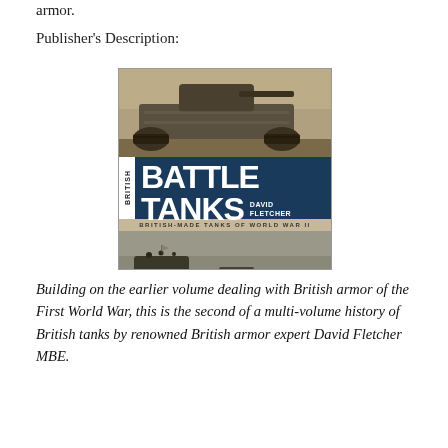armor.
Publisher's Description:
[Figure (photo): Book cover of 'British Battle Tanks: British-Made Tanks of World War II' by David Fletcher. The cover shows a Churchill tank on the top half, the bold title 'BRITISH BATTLE TANKS' in white on a dark blue band in the middle with David Fletcher's name, and a column of tanks on the bottom half.]
Building on the earlier volume dealing with British armor of the First World War, this is the second of a multi-volume history of British tanks by renowned British armor expert David Fletcher MBE.